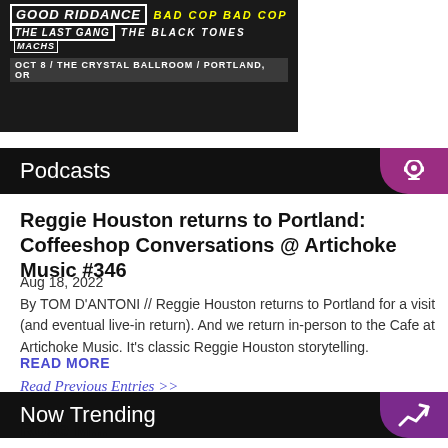[Figure (photo): Concert promotional poster showing Good Riddance, Bad Cop Bad Cop, The Last Gang, The Black Tones, Machs — Oct 8 / The Crystal Ballroom / Portland, OR]
Podcasts
Reggie Houston returns to Portland: Coffeeshop Conversations @ Artichoke Music #346
Aug 18, 2022
By TOM D'ANTONI // Reggie Houston returns to Portland for a visit (and eventual live-in return). And we return in-person to the Cafe at Artichoke Music. It's classic Reggie Houston storytelling.
READ MORE
Read Previous Entries >>
Now Trending
Rose M...